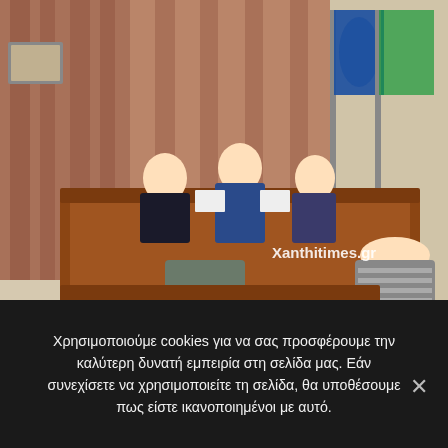[Figure (photo): Courtroom or council chamber scene with officials seated at a raised wooden bench. Three people sit behind the bench (two men and one woman), with blue and green flags in the background. Two attendees are visible in the foreground. Watermark reads 'Xanthitimes.gr'.]
Απαντήσεις δημάρχου σε Ξυνίδη. Ικανοποίησαν; (ΒΙΝΤΕΟ)
Χρησιμοποιούμε cookies για να σας προσφέρουμε την καλύτερη δυνατή εμπειρία στη σελίδα μας. Εάν συνεχίσετε να χρησιμοποιείτε τη σελίδα, θα υποθέσουμε πως είστε ικανοποιημένοι με αυτό.